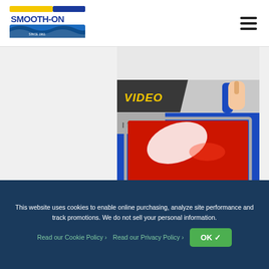Smooth-On logo and navigation menu
[Figure (screenshot): Gray placeholder bar above video card]
[Figure (photo): Video thumbnail showing red silicone rubber being poured into a blue vacuum former frame, with a person's hand visible. A 'VIDEO' badge overlays the top-left corner of the image.]
Using a Vacuum Former to Create Lightweight Wall Panel
How to to make beautiful decorative wall panels using a TASK 18 vacuum forming
This website uses cookies to enable online purchasing, analyze site performance and track promotions. We do not sell your personal information.
Read our Cookie Policy ›   Read our Privacy Policy ›   OK ✓